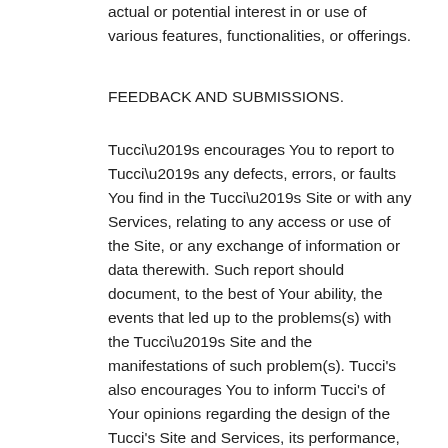actual or potential interest in or use of various features, functionalities, or offerings.
FEEDBACK AND SUBMISSIONS.
Tucci’s encourages You to report to Tucci’s any defects, errors, or faults You find in the Tucci’s Site or with any Services, relating to any access or use of the Site, or any exchange of information or data therewith. Such report should document, to the best of Your ability, the events that led up to the problems(s) with the Tucci’s Site and the manifestations of such problem(s). Tucci’s also encourages You to inform Tucci’s of Your opinions regarding the design of the Tucci’s Site and Services, its performance, its suitability for its projected use, its limitations, its appearance, its ease of access and use and the exchange of information and data with the Tucci’s Site. This information and any other